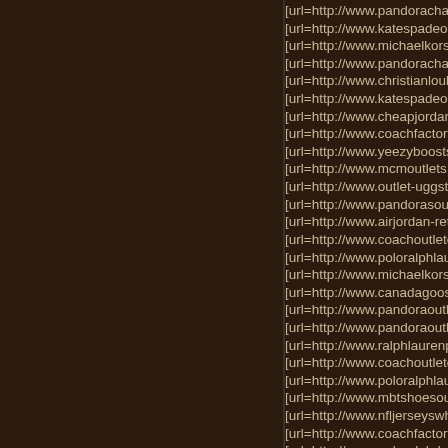[url=http://www.pandoracharms...
[url=http://www.katespadeoutle...
[url=http://www.michaelkorsou...
[url=http://www.pandoracharms...
[url=http://www.christianloubo...
[url=http://www.katespadeonlin...
[url=http://www.cheapjordansfo...
[url=http://www.coachfactory-c...
[url=http://www.yeezyboosts.us...
[url=http://www.mcmoutlets.us...
[url=http://www.outlet-uggstore...
[url=http://www.pandorasoutlet...
[url=http://www.airjordan-retro...
[url=http://www.coachoutletonl...
[url=http://www.poloralphlaure...
[url=http://www.michaelkorsha...
[url=http://www.canadagooseou...
[url=http://www.pandoraoutletc...
[url=http://www.pandoraoutletb...
[url=http://www.ralphlaurenpol...
[url=http://www.coachoutletonl...
[url=http://www.poloralphlaurе...
[url=http://www.mbtshoesoutle...
[url=http://www.nfljerseyswho...
[url=http://www.coachfactoryou...
[url=http://www.poloralph-laure...
[url=http://www.canadagoosеo...
[url=http://www.lunetterayban...